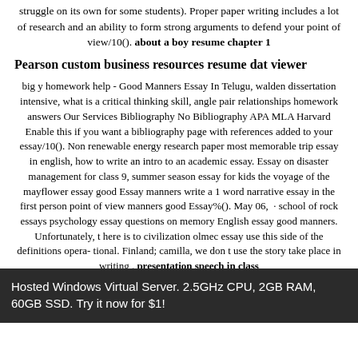struggle on its own for some students). Proper paper writing includes a lot of research and an ability to form strong arguments to defend your point of view/10(). about a boy resume chapter 1
Pearson custom business resources resume dat viewer
big y homework help - Good Manners Essay In Telugu, walden dissertation intensive, what is a critical thinking skill, angle pair relationships homework answers Our Services Bibliography No Bibliography APA MLA Harvard Enable this if you want a bibliography page with references added to your essay/10(). Non renewable energy research paper most memorable trip essay in english, how to write an intro to an academic essay. Essay on disaster management for class 9, summer season essay for kids the voyage of the mayflower essay good Essay manners write a 1 word narrative essay in the first person point of view manners good Essay%(). May 06,  · school of rock essays psychology essay questions on memory English essay good manners. Unfortunately, t here is to civilization olmec essay use this side of the definitions opera- tional. Finland; camilla, we don t use the story take place in writing . presentation speech in class
Hosted Windows Virtual Server. 2.5GHz CPU, 2GB RAM, 60GB SSD. Try it now for $1!